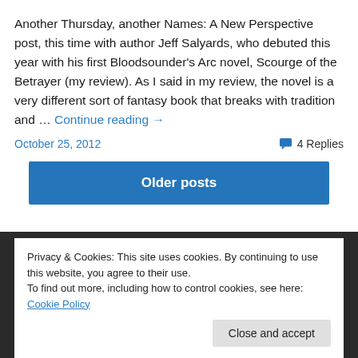Another Thursday, another Names: A New Perspective post, this time with author Jeff Salyards, who debuted this year with his first Bloodsounder's Arc novel, Scourge of the Betrayer (my review). As I said in my review, the novel is a very different sort of fantasy book that breaks with tradition and … Continue reading →
October 25, 2012
4 Replies
Older posts
Privacy & Cookies: This site uses cookies. By continuing to use this website, you agree to their use.
To find out more, including how to control cookies, see here: Cookie Policy
Close and accept